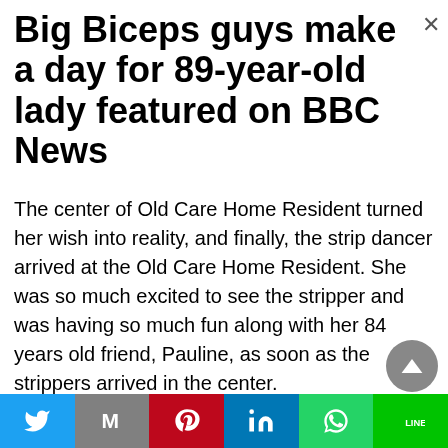Big Biceps guys make a day for 89-year-old lady featured on BBC News
The center of Old Care Home Resident turned her wish into reality, and finally, the strip dancer arrived at the Old Care Home Resident. She was so much excited to see the stripper and was having so much fun along with her 84 years old friend, Pauline, as soon as the strippers arrived in the center.